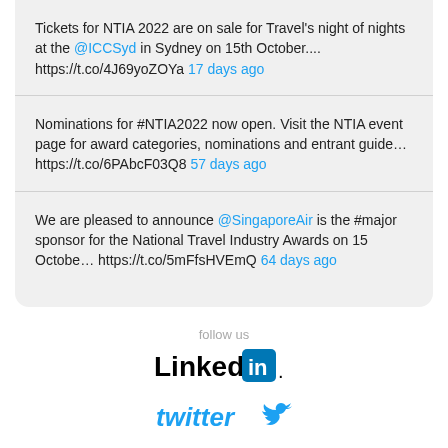Tickets for NTIA 2022 are on sale for Travel's night of nights at the @ICCSyd in Sydney on 15th October.... https://t.co/4J69yoZOYa 17 days ago
Nominations for #NTIA2022 now open. Visit the NTIA event page for award categories, nominations and entrant guide… https://t.co/6PAbcF03Q8 57 days ago
We are pleased to announce @SingaporeAir is the #major sponsor for the National Travel Industry Awards on 15 Octobe… https://t.co/5mFfsHVEmQ 64 days ago
follow us
[Figure (logo): LinkedIn logo with 'Linked' text and 'in' icon in blue]
[Figure (logo): Twitter logo with bird icon in light blue]